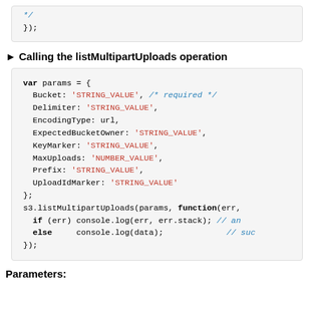[Figure (screenshot): Code block showing end of previous code snippet with closing }); lines]
► Calling the listMultipartUploads operation
[Figure (screenshot): Code block showing var params object for listMultipartUploads with fields: Bucket, Delimiter, EncodingType, ExpectedBucketOwner, KeyMarker, MaxUploads, Prefix, UploadIdMarker, followed by s3.listMultipartUploads call with if/else]
Parameters: